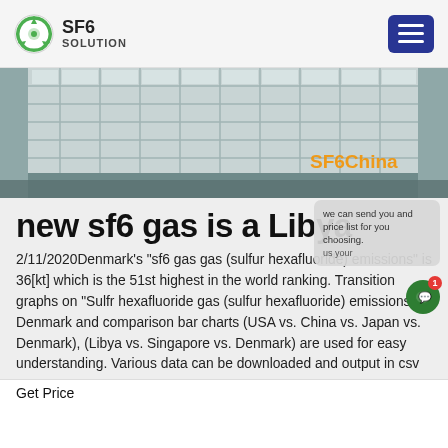SF6 SOLUTION
[Figure (photo): Hero image of a building with white grid facade, outdoor water feature or railing visible. SF6China watermark in orange text at lower right.]
new sf6 gas is a Libya
2/11/2020Denmark's "sf6 gas gas (sulfur hexafluoride) emissions" is 36[kt] which is the 51st highest in the world ranking. Transition graphs on "Sulfr hexafluoride gas (sulfur hexafluoride) emissions" in Denmark and comparison bar charts (USA vs. China vs. Japan vs. Denmark), (Libya vs. Singapore vs. Denmark) are used for easy understanding. Various data can be downloaded and output in csv
Get Price